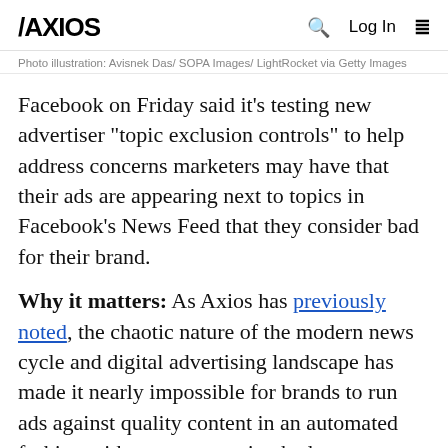AXIOS | Q | Log In | ≡
Photo illustration: Avisnek Das/ SOPA Images/ LightRocket via Getty Images
Facebook on Friday said it's testing new advertiser "topic exclusion controls" to help address concerns marketers may have that their ads are appearing next to topics in Facebook's News Feed that they consider bad for their brand.
Why it matters: As Axios has previously noted, the chaotic nature of the modern news cycle and digital advertising landscape has made it nearly impossible for brands to run ads against quality content in an automated fashion without encountering bad content.